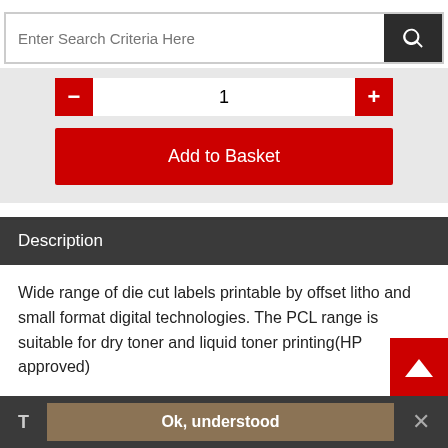[Figure (screenshot): Search bar with text input placeholder 'Enter Search Criteria Here' and dark search button with magnifying glass icon]
[Figure (screenshot): Quantity selector with red minus and plus buttons, white input showing 1, and red 'Add to Basket' button on grey background]
Description
Wide range of die cut labels printable by offset litho and small format digital technologies. The PCL range is suitable for dry toner and liquid toner printing(HP approved)
Product Details
People who bought this also bought
[Figure (screenshot): Bottom cookie/notification bar: T label, Ok understood button, close X button]